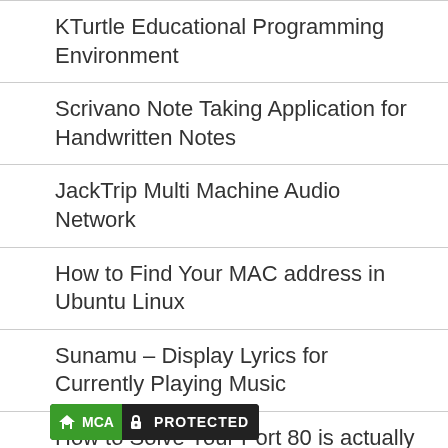KTurtle Educational Programming Environment
Scrivano Note Taking Application for Handwritten Notes
JackTrip Multi Machine Audio Network
How to Find Your MAC address in Ubuntu Linux
Sunamu – Display Lyrics for Currently Playing Music
How to Solve Your Port 80 is actually used by Microsoft IIS – Fix Apache not Running on WAMP
[Figure (logo): DMCA Protected badge — green and black badge with house icon, lock icon, and PROTECTED text]